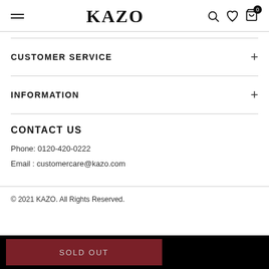KAZO
CUSTOMER SERVICE
INFORMATION
CONTACT US
Phone: 0120-420-0222
Email : customercare@kazo.com
© 2021 KAZO. All Rights Reserved.